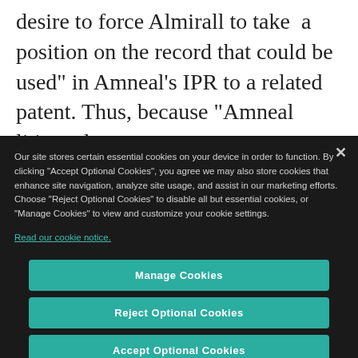desire to force Almirall to take a position on the record that could be used" in Amneal's IPR to a related patent. Thus, because "Amneal litigated
Our site stores certain essential cookies on your device in order to function. By clicking "Accept Optional Cookies", you agree we may also store cookies that enhance site navigation, analyze site usage, and assist in our marketing efforts. Choose "Reject Optional Cookies" to disable all but essential cookies, or "Manage Cookies" to view and customize your cookie settings.
Read our cookie notice.
Manage Cookies
Reject Optional Cookies
Accept Optional Cookies